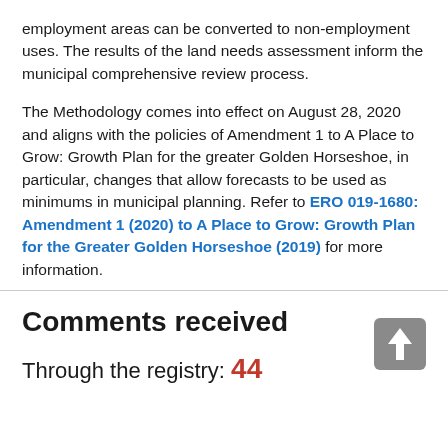employment areas can be converted to non-employment uses. The results of the land needs assessment inform the municipal comprehensive review process.
The Methodology comes into effect on August 28, 2020 and aligns with the policies of Amendment 1 to A Place to Grow: Growth Plan for the greater Golden Horseshoe, in particular, changes that allow forecasts to be used as minimums in municipal planning. Refer to ERO 019-1680: Amendment 1 (2020) to A Place to Grow: Growth Plan for the Greater Golden Horseshoe (2019) for more information.
Comments received
Through the registry: 44